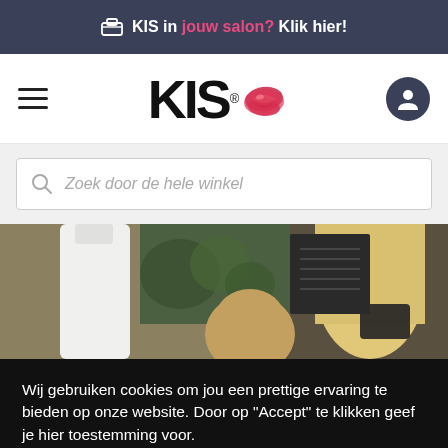🏪 KIS in jouw salon? Klik hier!
[Figure (logo): KIS logo with red lip mark and registered trademark symbol, hamburger menu on left, user account icon on right]
Zoek door de hele winkel
[Figure (photo): Hero image showing a hairdresser salon scene with a white bottle product, green plants, a person with blonde hair, and a blackboard menu in background]
Wij gebruiken cookies om jou een prettige ervaring te bieden op onze website. Door op "Accept" te klikken geef je hier toestemming voor.
Cookie settings   ACCEPT